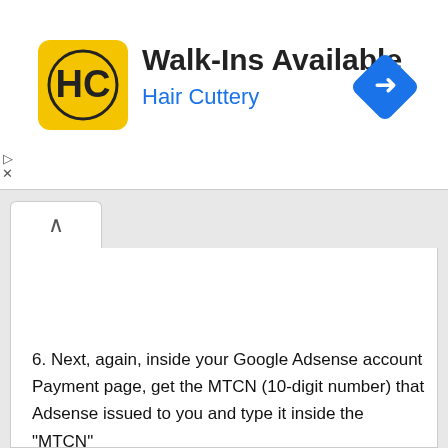[Figure (screenshot): Hair Cuttery advertisement banner with logo, Walk-Ins Available text, and navigation icon]
6. Next, again, inside your Google Adsense account Payment page, get the MTCN (10-digit number) that Adsense issued to you and type it inside the "MTCN"